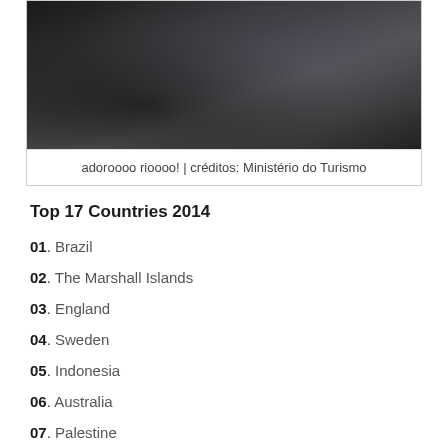[Figure (photo): Dark photo of a person in a dim outdoor setting, related to Rio de Janeiro]
adoroooo rioooo! | créditos: Ministério do Turismo
Top 17 Countries 2014
01. Brazil
02. The Marshall Islands
03. England
04. Sweden
05. Indonesia
06. Australia
07. Palestine
08. South Africa